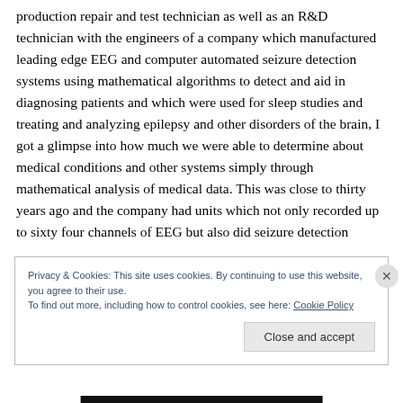production repair and test technician as well as an R&D technician with the engineers of a company which manufactured leading edge EEG and computer automated seizure detection systems using mathematical algorithms to detect and aid in diagnosing patients and which were used for sleep studies and treating and analyzing epilepsy and other disorders of the brain, I got a glimpse into how much we were able to determine about medical conditions and other systems simply through mathematical analysis of medical data. This was close to thirty years ago and the company had units which not only recorded up to sixty four channels of EEG but also did seizure detection
Privacy & Cookies: This site uses cookies. By continuing to use this website, you agree to their use.
To find out more, including how to control cookies, see here: Cookie Policy